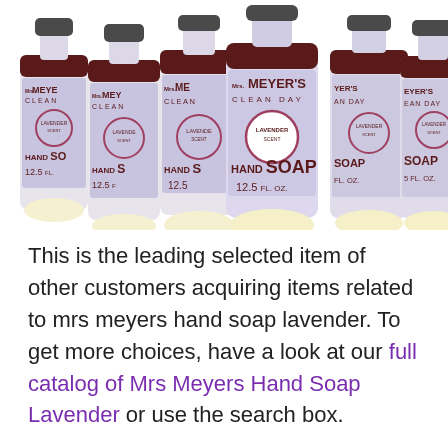[Figure (photo): Six bottles of Mrs. Meyer's Clean Day Lavender Hand Soap 12.5 FL. OZ. arranged in a row, labels visible with dark red/maroon header band and lavender/light purple body, circular Lavender scent logo in center of each label.]
This is the leading selected item of other customers acquiring items related to mrs meyers hand soap lavender. To get more choices, have a look at our full catalog of Mrs Meyers Hand Soap Lavender or use the search box.